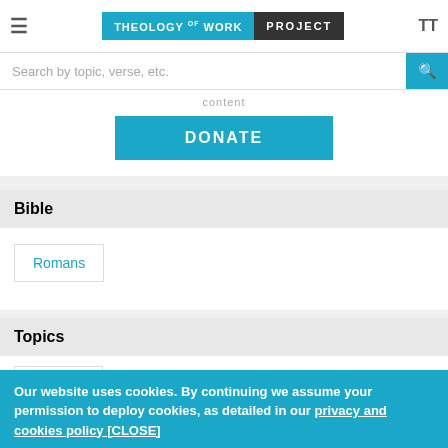Theology of Work Project
Search by topic, verse, etc.
content
DONATE
Bible
Romans
Topics
Respect
Our website uses cookies. By continuing we assume your permission to deploy cookies, as detailed in our privacy and cookies policy [CLOSE]